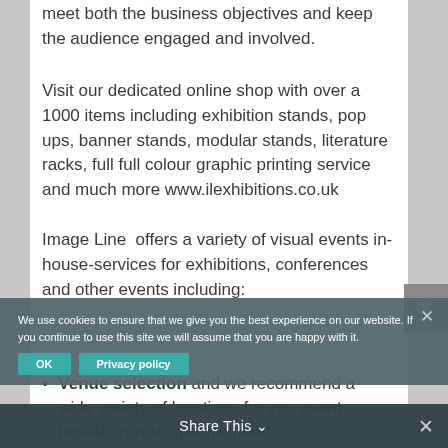meet both the business objectives and keep the audience engaged and involved.
Visit our dedicated online shop with over a 1000 items including exhibition stands, pop ups, banner stands, modular stands, literature racks, full full colour graphic printing service and much more www.ilexhibitions.co.uk
Image Line  offers a variety of visual events in-house-services for exhibitions, conferences and other events including:
Venue selection and we recommend a wide variety of locations for you event based on your specific needs.
We use cookies to ensure that we give you the best experience on our website. If you continue to use this site we will assume that you are happy with it.
Share This